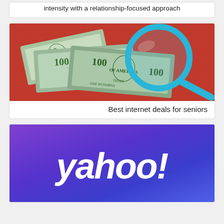Zach Azzanni, the Broncos' longest-serving coach, balances intensity with a relationship-focused approach
[Figure (photo): Photo of US $100 dollar bills fanned out on a pink surface with a blue magnifying glass placed over them]
Best internet deals for seniors
[Figure (logo): Yahoo! logo in white italic bold text on a purple-to-blue gradient background]
...